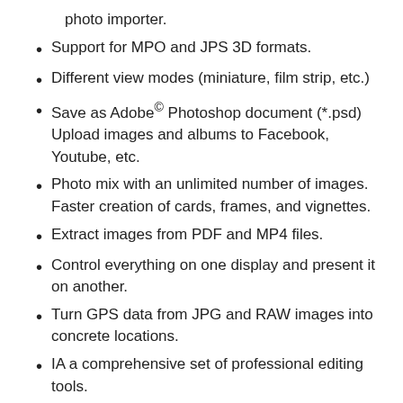photo importer.
Support for MPO and JPS 3D formats.
Different view modes (miniature, film strip, etc.)
Save as Adobe® Photoshop document (*.psd) Upload images and albums to Facebook, Youtube, etc.
Photo mix with an unlimited number of images. Faster creation of cards, frames, and vignettes.
Extract images from PDF and MP4 files.
Control everything on one display and present it on another.
Turn GPS data from JPG and RAW images into concrete locations.
IA a comprehensive set of professional editing tools.
What is New?